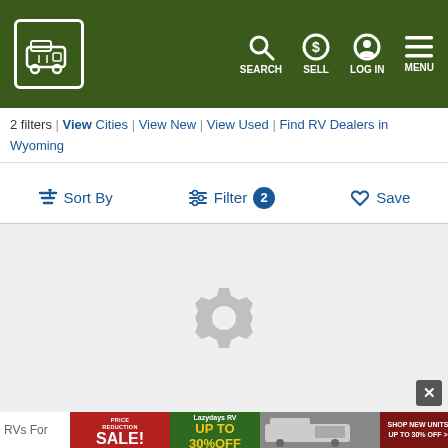RV Trader header navigation with SEARCH, SELL, LOG IN, MENU
2 filters | View Cities | View New | View Used | Find RV Dealers in Wyoming
Sort By | Filter 2 | Save
[Figure (screenshot): Loading spinner / gear icon on grey background indicating content is loading]
RVs For
[Figure (screenshot): Advertisement banner: PRICE REDUCTION SALE! Lazydays RV UP TO 30% OFF, with RV photo and SHOP NEW UNITS UP TO 30% OFF button]